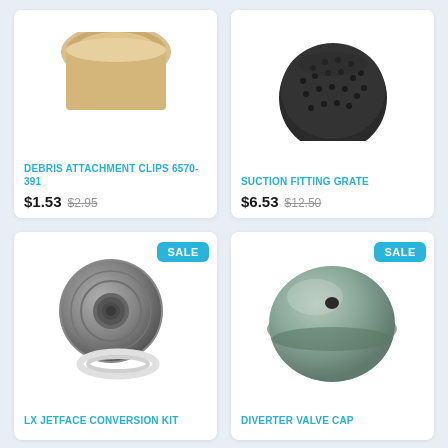[Figure (photo): Debris attachment clips product photo - partial view of a tan/beige colored clip component]
DEBRIS ATTACHMENT CLIPS 6570-391
$1.53  $2.95
[Figure (photo): Suction fitting grate product photo - dark grey/black dome-shaped grate with perforations]
SUCTION FITTING GRATE
$6.53  $12.50
[Figure (photo): LX Jetface conversion kit product photo - silver/grey circular jet face with white ring collar]
SALE
LX JETFACE CONVERSION KIT
[Figure (photo): Diverter valve cap product photo - rounded grey/teal dome shaped cap with center hole]
SALE
DIVERTER VALVE CAP